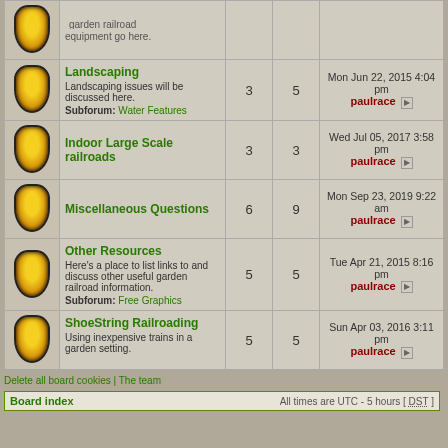|  | Forum | Topics | Posts | Last post |
| --- | --- | --- | --- | --- |
| [icon] | garden railroad equipment go here. |  |  |  |
| [icon] | Landscaping
Landscaping issues will be discussed here.
Subforum: Water Features | 3 | 5 | Mon Jun 22, 2015 4:04 pm
paulrace |
| [icon] | Indoor Large Scale railroads | 3 | 3 | Wed Jul 05, 2017 3:58 pm
paulrace |
| [icon] | Miscellaneous Questions | 6 | 9 | Mon Sep 23, 2019 9:22 am
paulrace |
| [icon] | Other Resources
Here's a place to list links to and discuss other useful garden railroad information.
Subforum: Free Graphics | 5 | 5 | Tue Apr 21, 2015 8:16 pm
paulrace |
| [icon] | ShoeString Railroading
Using inexpensive trains in a garden setting. | 5 | 5 | Sun Apr 03, 2016 3:11 pm
paulrace |
Delete all board cookies | The team
Board index    All times are UTC - 5 hours [ DST ]